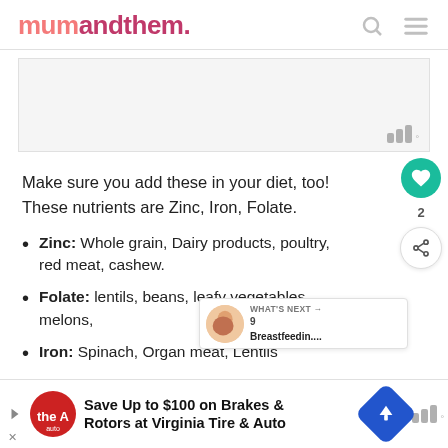mumandthem.
[Figure (other): Advertisement banner placeholder with watermark bars logo]
Make sure you add these in your diet, too! These nutrients are Zinc, Iron, Folate.
Zinc: Whole grain, Dairy products, poultry, red meat, cashew.
Folate: lentils, beans, leafy vegetables, melons,
Iron: Spinach, Organ meat, Lentils
[Figure (other): Bottom advertisement: Save Up to $100 on Brakes & Rotors at Virginia Tire & Auto]